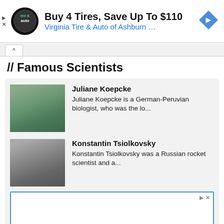[Figure (screenshot): Advertisement banner: tire and auto logo circle, text 'Buy 4 Tires, Save Up To $110' and 'Virginia Tire & Auto of Ashburn ...' with blue navigation arrow diamond icon]
// Famous Scientists
Juliane Koepcke
Juliane Koepcke is a German-Peruvian biologist, who was the lo...
Konstantin Tsiolkovsky
Konstantin Tsiolkovsky was a Russian rocket scientist and a...
[Figure (other): Empty advertisement placeholder box with blue border and ad controls]